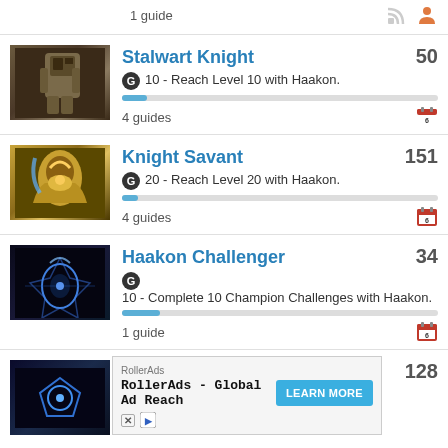1 guide
Stalwart Knight
G 10 - Reach Level 10 with Haakon.
4 guides
Knight Savant
G 20 - Reach Level 20 with Haakon.
4 guides
Haakon Challenger
G 10 - Complete 10 Champion Challenges with Haakon.
1 guide
[Figure (screenshot): Advertisement banner: RollerAds - Global Ad Reach with LEARN MORE button]
128